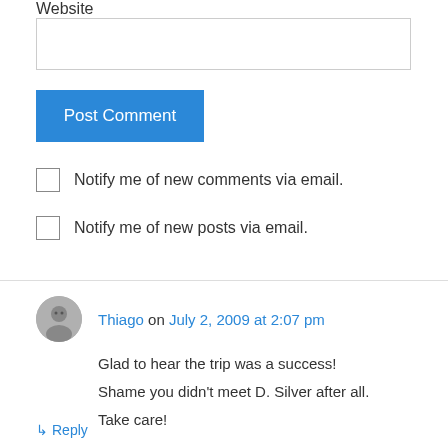Website
Post Comment
Notify me of new comments via email.
Notify me of new posts via email.
Thiago on July 2, 2009 at 2:07 pm
Glad to hear the trip was a success! Shame you didn't meet D. Silver after all. Take care!
Reply